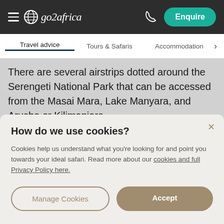go2africa — Enquire
Travel advice | Tours & Safaris | Accommodation
There are several airstrips dotted around the Serengeti National Park that can be accessed from the Masai Mara, Lake Manyara, and Arusha or Kilimanjaro.
Note: international flights often arrive at Kilimanjaro
How do we use cookies?
Cookies help us understand what you're looking for and point you towards your ideal safari. Read more about our cookies and full Privacy Policy here.